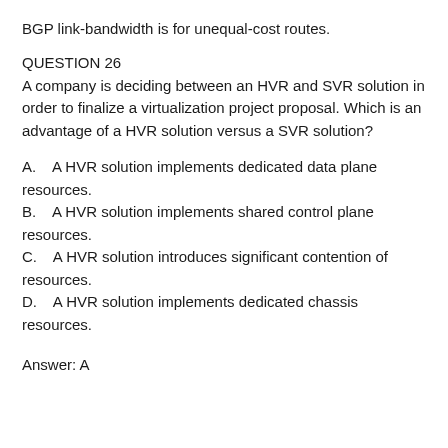BGP link-bandwidth is for unequal-cost routes.
QUESTION 26
A company is deciding between an HVR and SVR solution in order to finalize a virtualization project proposal. Which is an advantage of a HVR solution versus a SVR solution?
A.    A HVR solution implements dedicated data plane resources.
B.    A HVR solution implements shared control plane resources.
C.    A HVR solution introduces significant contention of resources.
D.    A HVR solution implements dedicated chassis resources.
Answer: A